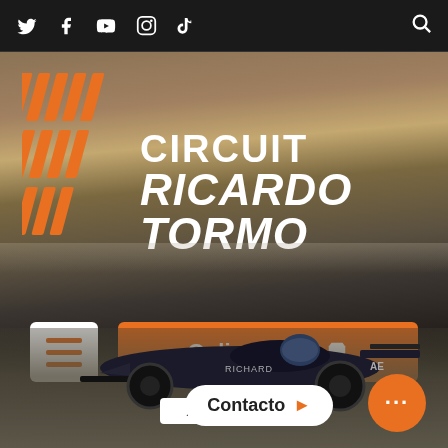Social media icons: Twitter, Facebook, YouTube, Instagram, TikTok, Search
[Figure (logo): Circuit Ricardo Tormo logo with orange diagonal stripe marks and white bold text reading CIRCUIT RICARDO TORMO on a blurred racing track background]
[Figure (photo): Racing car (Formula-style) on track, viewed from side, with Hankook branding, blurred motion background]
Online store 🛍
Contacto ▶
Hankook